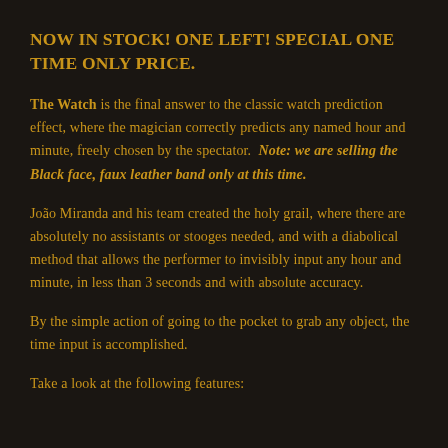NOW IN STOCK! ONE LEFT! SPECIAL ONE TIME ONLY PRICE.
The Watch is the final answer to the classic watch prediction effect, where the magician correctly predicts any named hour and minute, freely chosen by the spectator. Note: we are selling the Black face, faux leather band only at this time.
João Miranda and his team created the holy grail, where there are absolutely no assistants or stooges needed, and with a diabolical method that allows the performer to invisibly input any hour and minute, in less than 3 seconds and with absolute accuracy.
By the simple action of going to the pocket to grab any object, the time input is accomplished.
Take a look at the following features: